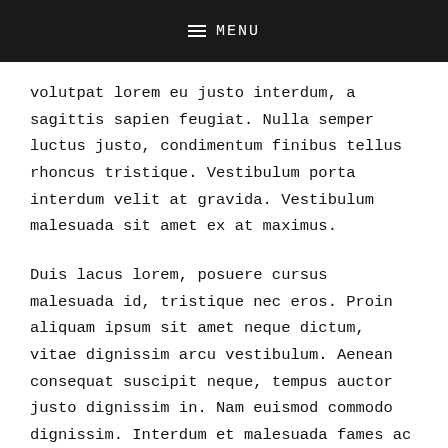MENU
volutpat lorem eu justo interdum, a sagittis sapien feugiat. Nulla semper luctus justo, condimentum finibus tellus rhoncus tristique. Vestibulum porta interdum velit at gravida. Vestibulum malesuada sit amet ex at maximus.
Duis lacus lorem, posuere cursus malesuada id, tristique nec eros. Proin aliquam ipsum sit amet neque dictum, vitae dignissim arcu vestibulum. Aenean consequat suscipit neque, tempus auctor justo dignissim in. Nam euismod commodo dignissim. Interdum et malesuada fames ac ante ipsum primis in faucibus. Cras eget erat sed elit eleifend fringilla. In at rhoncus ipsum.